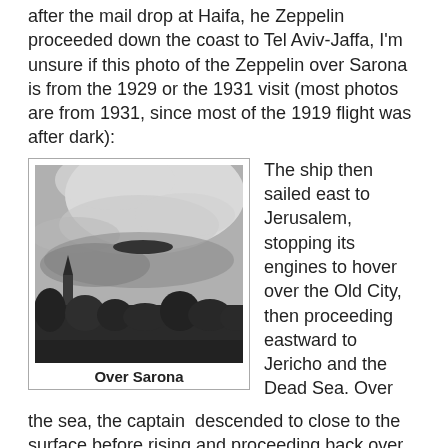after the mail drop at Haifa, he Zeppelin proceeded down the coast to Tel Aviv-Jaffa, I'm unsure if this photo of the Zeppelin over Sarona is from the 1929 or the 1931 visit (most photos are from 1931, since most of the 1919 flight was after dark):
[Figure (photo): Black and white photograph of a Zeppelin airship flying over Sarona, with trees and a church steeple visible in the foreground against a cloudy sky.]
Over Sarona
The ship then sailed east to Jerusalem, stopping its engines to hover over the Old City, then proceeding eastward to Jericho and the Dead Sea. Over the sea, the captain descended to close to the surface before rising and proceeding back over Jerusalem, now visible in bright moonlight.
Proceeding out over the Mediterranean, the Zeppelin proceeded along the Egyptian coast, where Dr. Eckener, off